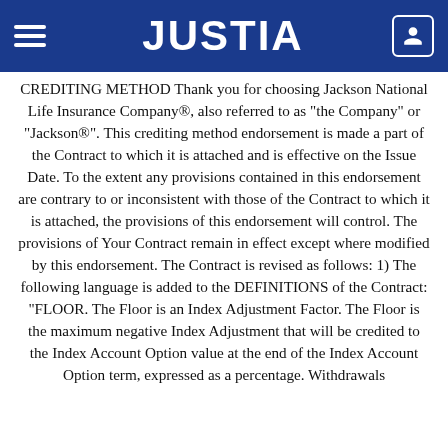JUSTIA
CREDITING METHOD Thank you for choosing Jackson National Life Insurance Company®, also referred to as "the Company" or "Jackson®". This crediting method endorsement is made a part of the Contract to which it is attached and is effective on the Issue Date. To the extent any provisions contained in this endorsement are contrary to or inconsistent with those of the Contract to which it is attached, the provisions of this endorsement will control. The provisions of Your Contract remain in effect except where modified by this endorsement. The Contract is revised as follows: 1) The following language is added to the DEFINITIONS of the Contract: "FLOOR. The Floor is an Index Adjustment Factor. The Floor is the maximum negative Index Adjustment that will be credited to the Index Account Option value at the end of the Index Account Option term, expressed as a percentage. Withdrawals